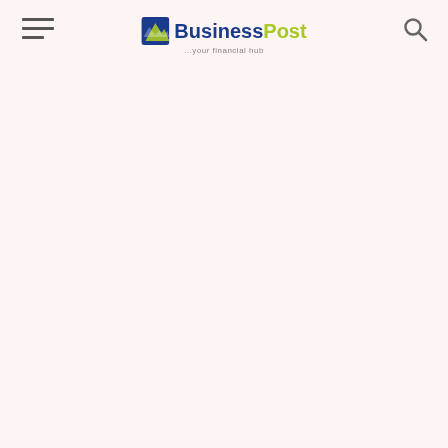[Figure (logo): BusinessPost logo with tagline '...your financial hub' and hamburger menu icon on the left and search icon on the right, on a light pink/cream background]